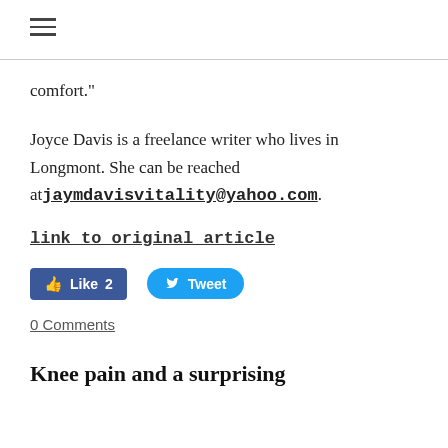≡
comfort."
Joyce Davis is a freelance writer who lives in Longmont. She can be reached at jaymdavisvitality@yahoo.com.
link to original article
[Figure (other): Facebook Like button showing 2 likes and Twitter Tweet button]
0 Comments
Knee pain and a surprising